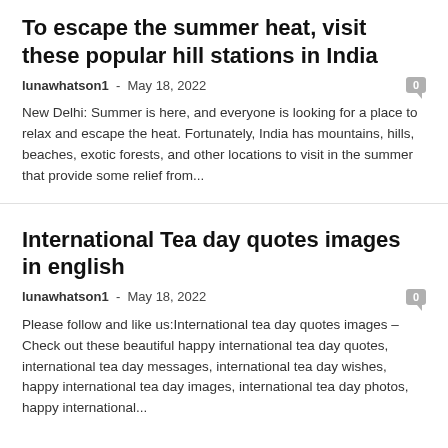To escape the summer heat, visit these popular hill stations in India
lunawhatson1  -  May 18, 2022
New Delhi: Summer is here, and everyone is looking for a place to relax and escape the heat. Fortunately, India has mountains, hills, beaches, exotic forests, and other locations to visit in the summer that provide some relief from...
International Tea day quotes images in english
lunawhatson1  -  May 18, 2022
Please follow and like us:International tea day quotes images – Check out these beautiful happy international tea day quotes, international tea day messages, international tea day wishes, happy international tea day images, international tea day photos, happy international...
Best Posters, Quotes, Images, Messages, To